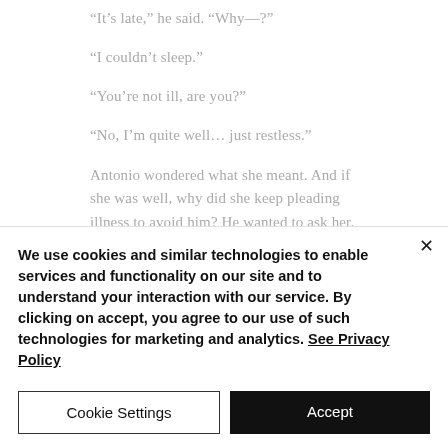“It’s late,” he said. “Why—?”
“I couldn’t sleep.”
“You’re not ill, are you?”
“No, I’m quite well… just restless.”
Antonio wondered what she meant. And if she was well, why did she keep pleading illness to avoid him? He wanted to ask her. but he
We use cookies and similar technologies to enable services and functionality on our site and to understand your interaction with our service. By clicking on accept, you agree to our use of such technologies for marketing and analytics. See Privacy Policy
Cookie Settings
Accept